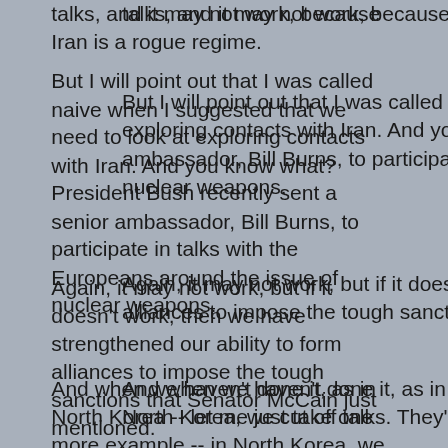talks, and it may not work, because Iran is a rogue regime.
But I will point out that I was called naive when I suggested that we need to look at exploring contacts with Iran. And you know what? President Bush recently sent a senior ambassador, Bill Burns, to participate in talks with the Europeans around the issue of nuclear weapons.
Again, it may not work, but if it doesn't work, then we have strengthened our ability to form alliances to impose the tough sanctions that Senator McCain just mentioned.
And when we haven't done it, as in North Korea -- let me just take one more example -- in North Korea, we cut off talks. They're a member of the axis of evil. We can't deal with them.
And you know what happened? They went -- they quadrupled their nuclear capacity. They tested a